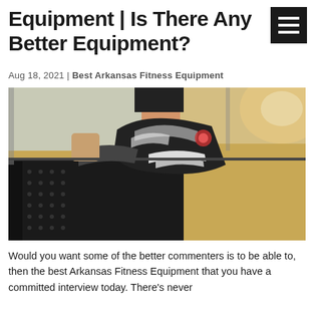Equipment | Is There Any Better Equipment?
Aug 18, 2021 | Best Arkansas Fitness Equipment
[Figure (photo): Close-up photo of a person running on a treadmill, showing the sole of a sneaker lifted above the treadmill belt, with gym background and warm lighting]
Would you want some of the better commenters is to be able to, then the best Arkansas Fitness Equipment that you have a committed interview today. There's never